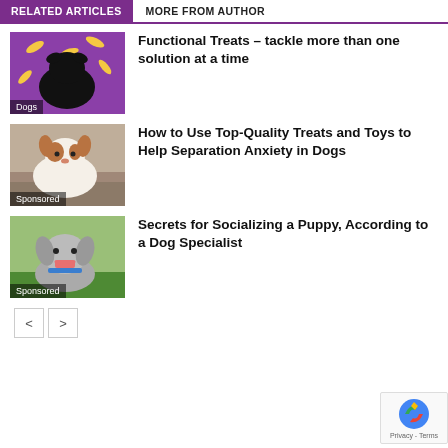RELATED ARTICLES | MORE FROM AUTHOR
[Figure (photo): Dog catching treats against purple background with bones]
Dogs
Functional Treats – tackle more than one solution at a time
[Figure (photo): Jack Russell terrier dog on couch]
Sponsored
How to Use Top-Quality Treats and Toys to Help Separation Anxiety in Dogs
[Figure (photo): Grey and white dog smiling outdoors on grass]
Sponsored
Secrets for Socializing a Puppy, According to a Dog Specialist